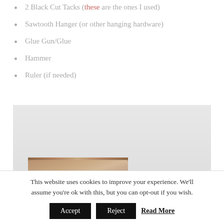2 Black Cut Tacks (these are the ones I used)
Sawtooth Hanger (or other hanging hardware)
Glue Gun/Glue
Hammer
Ruler (if needed)
[Figure (photo): A rectangular weathered wood piece with peeling paint/whitewash, photographed from above on a white/light grey background.]
This website uses cookies to improve your experience. We'll assume you're ok with this, but you can opt-out if you wish.